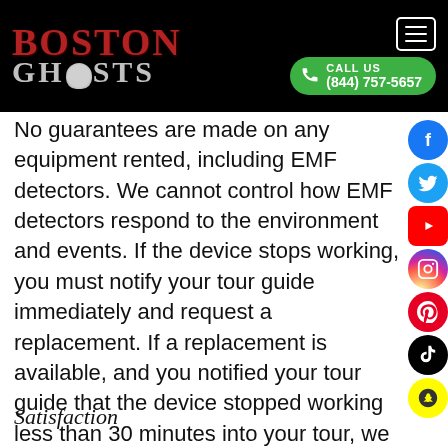[Figure (logo): Boston Ghosts logo with stylized red 'BOSTON' text and grey 'GHOSTS' text with skull icon on black background]
CALL US
(844) 757-5657
No guarantees are made on any equipment rented, including EMF detectors. We cannot control how EMF detectors respond to the environment and events. If the device stops working, you must notify your tour guide immediately and request a replacement. If a replacement is available, and you notified your tour guide that the device stopped working less than 30 minutes into your tour, we will grant a 50% refund. Refunds will be granted for equipment and souvenirs not received.
Satisfaction